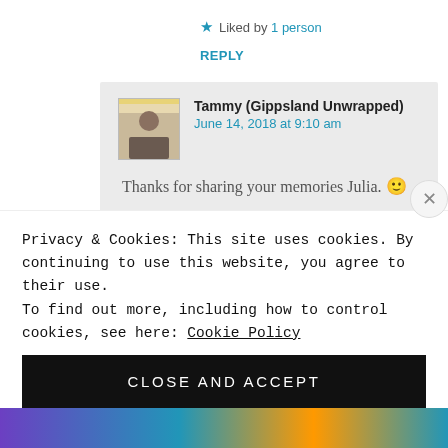★ Liked by 1 person
REPLY
Tammy (Gippsland Unwrapped)
June 14, 2018 at 9:10 am

Thanks for sharing your memories Julia. 🙂
Privacy & Cookies: This site uses cookies. By continuing to use this website, you agree to their use.
To find out more, including how to control cookies, see here: Cookie Policy
CLOSE AND ACCEPT